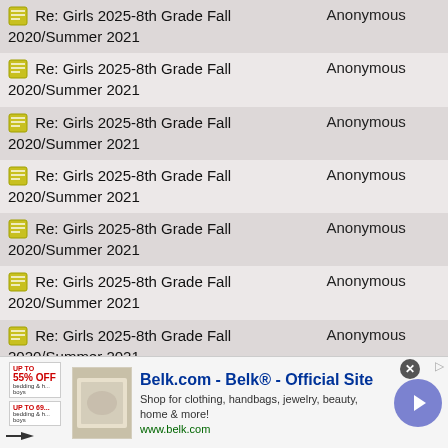| Subject | Author |
| --- | --- |
| Re: Girls 2025-8th Grade Fall 2020/Summer 2021 | Anonymous |
| Re: Girls 2025-8th Grade Fall 2020/Summer 2021 | Anonymous |
| Re: Girls 2025-8th Grade Fall 2020/Summer 2021 | Anonymous |
| Re: Girls 2025-8th Grade Fall 2020/Summer 2021 | Anonymous |
| Re: Girls 2025-8th Grade Fall 2020/Summer 2021 | Anonymous |
| Re: Girls 2025-8th Grade Fall 2020/Summer 2021 | Anonymous |
| Re: Girls 2025-8th Grade Fall 2020/Summer 2021 | Anonymous |
| Re: Girls 2025-8th Grade Fall 2020/Summer 2021 | Anonymous |
[Figure (other): Belk.com advertisement banner with logo, bedding image, and shop now arrow button. Text: Belk.com - Belk® - Official Site. Shop for clothing, handbags, jewelry, beauty, home & more! www.belk.com]